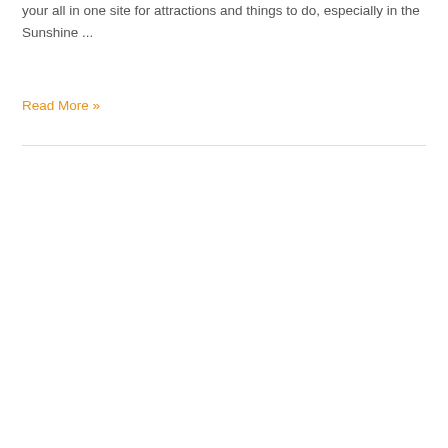your all in one site for attractions and things to do, especially in the Sunshine ...
Read More »